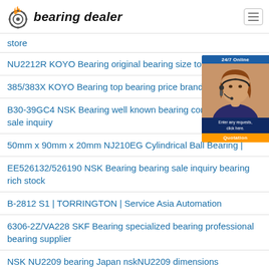bearing dealer
store
NU2212R KOYO Bearing original bearing size top bearing
385/383X KOYO Bearing top bearing price brand bearing
B30-39GC4 NSK Bearing well known bearing company bearing sale inquiry
50mm x 90mm x 20mm NJ210EG Cylindrical Ball Bearing |
EE526132/526190 NSK Bearing bearing sale inquiry bearing rich stock
B-2812 S1 | TORRINGTON | Service Asia Automation
6306-2Z/VA228 SKF Bearing specialized bearing professional bearing supplier
NSK NU2209 bearing Japan nskNU2209 dimensions
461/454 TIMKEN Bearing online bearing store bearing